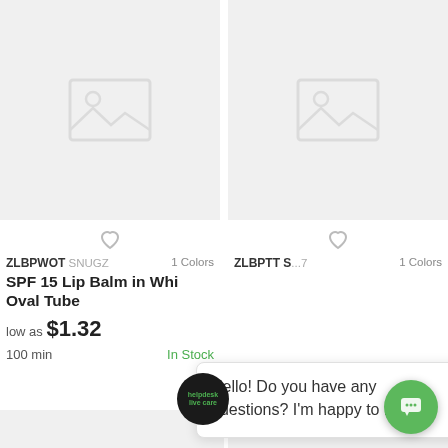[Figure (screenshot): Product listing page showing two product cards with placeholder images, heart (wishlist) icons, product titles, prices, and stock status. An overlay chat popup from a helpdesk widget is visible with the message: Hello! Do you have any questions? I'm happy to help.]
ZLBPWOT SNUGZ  1 Colors
SPF 15 Lip Balm in Whi... Oval Tube
low as $1.32
100 min   In Stock
ZLBPTT S...7   1 Colors
100 min
Hello! Do you have any questions? I'm happy to help.